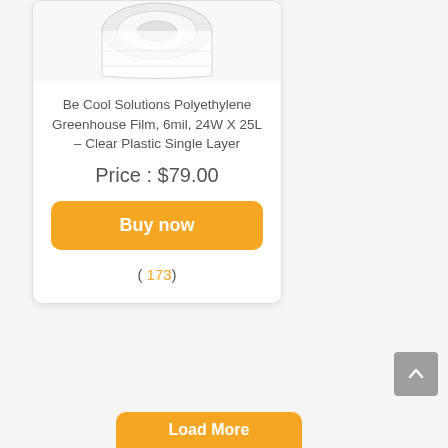[Figure (photo): A roll of clear polyethylene greenhouse plastic film, partially unrolled, shown at the top of a product card.]
Be Cool Solutions Polyethylene Greenhouse Film, 6mil, 24W X 25L – Clear Plastic Single Layer
Price : $79.00
Buy now
( 173)
Load More